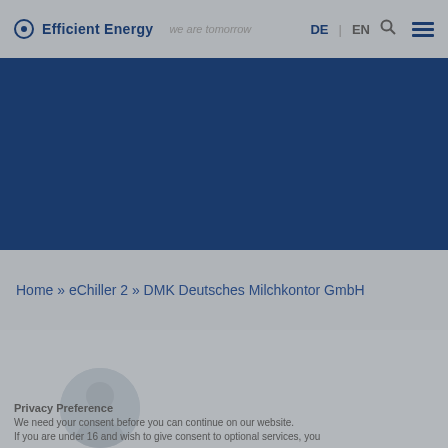Efficient Energy  we are tomorrow   DE | EN
[Figure (screenshot): Dark blue hero banner image area]
Home » eChiller 2 » DMK Deutsches Milchkontor GmbH
Reference example DMK Deutschen Milchkontor GmbH
We need your consent before you can continue on our website.
If you are under 16 and wish to give consent to optional services, you